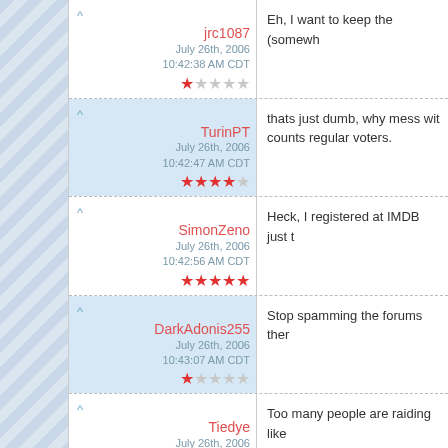jrc1087 | July 26th, 2006 10:42:38 AM CDT | 1 star | Eh, I want to keep the (somewh…
TurinPT | July 26th, 2006 10:42:47 AM CDT | 4 stars | thats just dumb, why mess wit… counts regular voters.
SimonZeno | July 26th, 2006 10:42:56 AM CDT | 5 stars | Heck, I registered at IMDB just t…
DarkAdonis255 | July 26th, 2006 10:43:07 AM CDT | 1 star | Stop spamming the forums ther…
Tiedye | July 26th, 2006 10:43:26 AM CDT | 1 star | Too many people are raiding like…